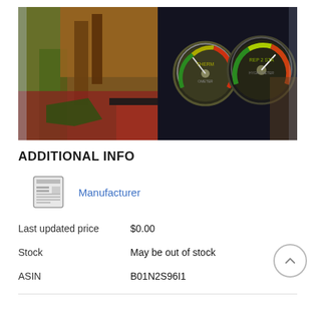[Figure (photo): Two side-by-side photos: left shows a reptile terrarium with green plants and wood decorations with red substrate; right shows circular dial gauges (thermometer and hygrometer) mounted on a dark background.]
ADDITIONAL INFO
[Figure (logo): Newspaper/document icon]
Manufacturer
| Last updated price | $0.00 |
| Stock | May be out of stock |
| ASIN | B01N2S96I1 |